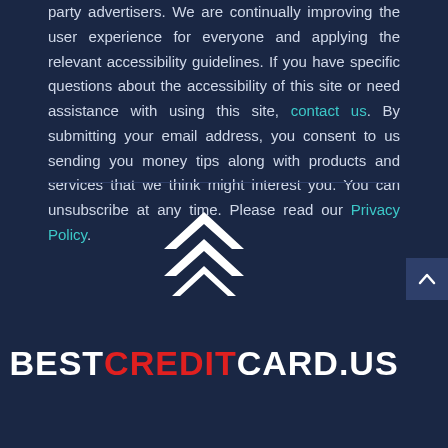party advertisers. We are continually improving the user experience for everyone and applying the relevant accessibility guidelines. If you have specific questions about the accessibility of this site or need assistance with using this site, contact us. By submitting your email address, you consent to us sending you money tips along with products and services that we think might interest you. You can unsubscribe at any time. Please read our Privacy Policy.
[Figure (logo): BestCreditCard.US logo with white double chevron/arrow icon above the text BESTCREDITCARD.US where CREDIT is in red and the rest is white]